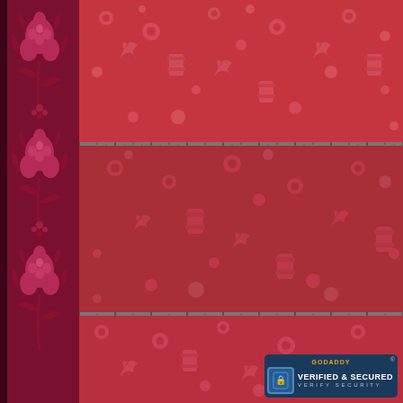[Figure (photo): Red fabric product image showing a floral border on the left side and three panels of red patterned fabric (with sewing notions / button patterns) on the right. A GoDaddy Verified & Secured badge appears in the bottom right corner.]